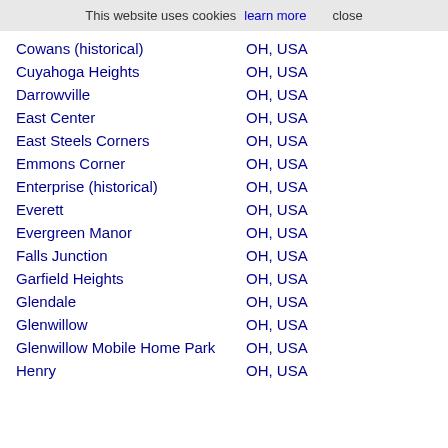This website uses cookies  learn more  close
Cowans (historical)  OH, USA
Cuyahoga Heights  OH, USA
Darrowville  OH, USA
East Center  OH, USA
East Steels Corners  OH, USA
Emmons Corner  OH, USA
Enterprise (historical)  OH, USA
Everett  OH, USA
Evergreen Manor  OH, USA
Falls Junction  OH, USA
Garfield Heights  OH, USA
Glendale  OH, USA
Glenwillow  OH, USA
Glenwillow Mobile Home Park  OH, USA
Henry  OH, USA